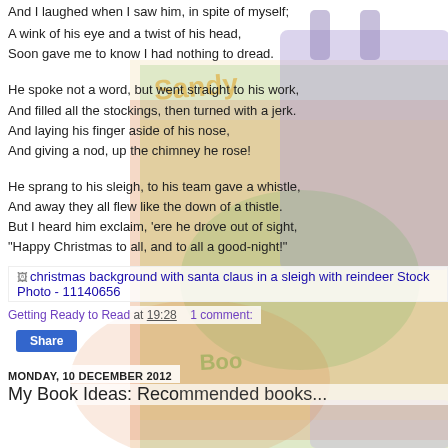And I laughed when I saw him, in spite of myself;
A wink of his eye and a twist of his head,
Soon gave me to know I had nothing to dread.
[Figure (photo): Background image of colorful Christmas/holiday themed book covers and a purple tote bag]
He spoke not a word, but went straight to his work,
And filled all the stockings, then turned with a jerk.
And laying his finger aside of his nose,
And giving a nod, up the chimney he rose!
He sprang to his sleigh, to his team gave a whistle,
And away they all flew like the down of a thistle.
But I heard him exclaim, 'ere he drove out of sight,
"Happy Christmas to all, and to all a good-night!"
[Figure (photo): christmas background with santa claus in a sleigh with reindeer Stock Photo - 11140656]
Getting Ready to Read at 19:28    1 comment:
Share
MONDAY, 10 DECEMBER 2012
My Book Ideas: Recommended books...